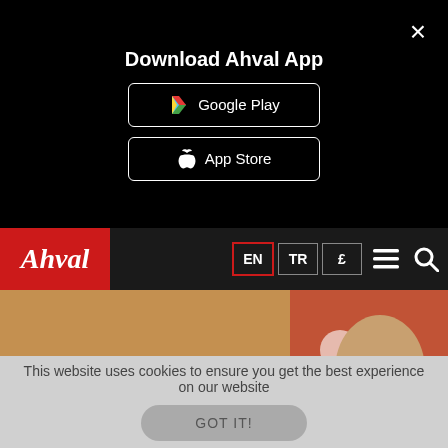Download Ahval App
Google Play
App Store
[Figure (screenshot): Ahval news website navigation bar with logo and language selectors EN, TR, and a currency symbol]
[Figure (photo): A man in a dark suit with a red tie speaking at a podium with microphones, gesturing with both hands raised]
Turkey's top opposition leader yet to propose
This website uses cookies to ensure you get the best experience on our website
GOT IT!